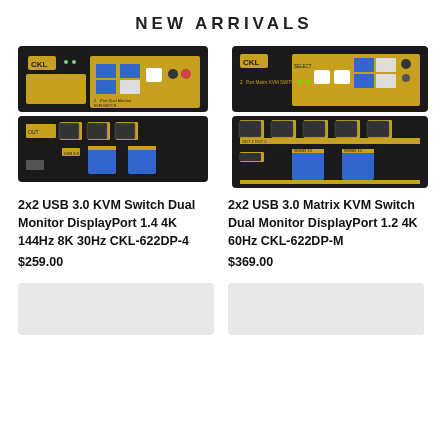NEW ARRIVALS
[Figure (photo): Front and back views of 2x2 USB 3.0 KVM Switch Dual Monitor DisplayPort 1.4 4K 144Hz 8K 30Hz CKL-622DP-4 device]
[Figure (photo): Front and back views of 2x2 USB 3.0 Matrix KVM Switch Dual Monitor DisplayPort 1.2 4K 60Hz CKL-622DP-M device]
2x2 USB 3.0 KVM Switch Dual Monitor DisplayPort 1.4 4K 144Hz 8K 30Hz CKL-622DP-4
$259.00
2x2 USB 3.0 Matrix KVM Switch Dual Monitor DisplayPort 1.2 4K 60Hz CKL-622DP-M
$369.00
[Figure (photo): Partial product image placeholder at bottom left]
[Figure (photo): Partial product image placeholder at bottom right]